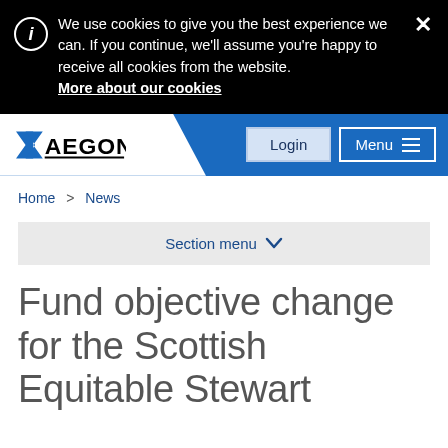We use cookies to give you the best experience we can. If you continue, we'll assume you're happy to receive all cookies from the website. More about our cookies
[Figure (screenshot): Aegon navigation bar with logo, Login button, and Menu button with hamburger icon]
Home > News
Section menu
Fund objective change for the Scottish Equitable Stewart